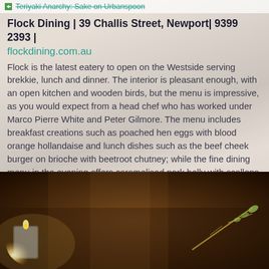Teriyaki Anarchy: Sake on Urbanspoon
Flock Dining | 39 Challis Street, Newport| 9399 2393 | flockdining.com.au
Flock is the latest eatery to open on the Westside serving brekkie, lunch and dinner. The interior is pleasant enough, with an open kitchen and wooden birds, but the menu is impressive, as you would expect from a head chef who has worked under Marco Pierre White and Peter Gilmore. The menu includes breakfast creations such as poached hen eggs with blood orange hollandaise and lunch dishes such as the beef cheek burger on brioche with beetroot chutney; while the fine dining menu in the evening offers caramelised pork belly with scallops, parsnip and cauliflower purée, and pear and lavender chutney. The chocolate marquise with salted caramel mousse and peanut brittle ice cream probably isn't half bad, either.
[Figure (photo): Photo of food/restaurant ambience with warm candlelight and decorative branch at bottom of page]